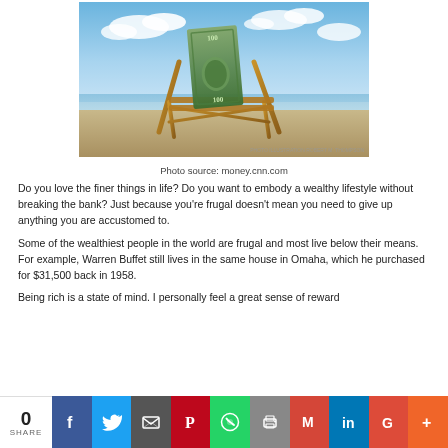[Figure (photo): A beach chair (deck chair) on sandy beach with a $100 bill sitting in the seat, blue sky with clouds in background]
Photo source: money.cnn.com
Do you love the finer things in life? Do you want to embody a wealthy lifestyle without breaking the bank? Just because you're frugal doesn't mean you need to give up anything you are accustomed to.
Some of the wealthiest people in the world are frugal and most live below their means. For example, Warren Buffet still lives in the same house in Omaha, which he purchased for $31,500 back in 1958.
Being rich is a state of mind. I personally feel a great sense of reward
0 SHARE  [social share buttons: Facebook, Twitter, Email, Pinterest, WhatsApp, Print, Gmail, LinkedIn, Google+, More]